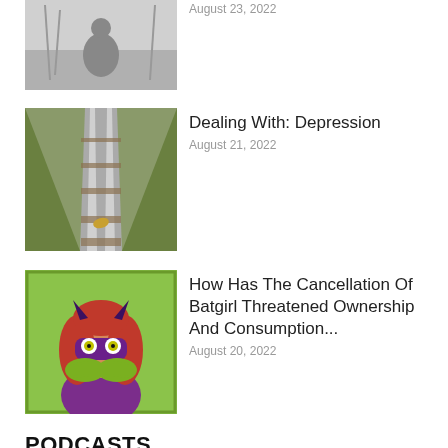[Figure (photo): Black and white photo of a person crouching outdoors, possibly exercising]
August 23, 2022
[Figure (photo): A railway track stretching into the distance with a fallen leaf, autumn scene]
Dealing With: Depression
August 21, 2022
[Figure (illustration): Cartoon illustration of Batgirl with red hair and purple mask, looking shocked with hands over mouth, green background]
How Has The Cancellation Of Batgirl Threatened Ownership And Consumption...
August 20, 2022
PODCASTS